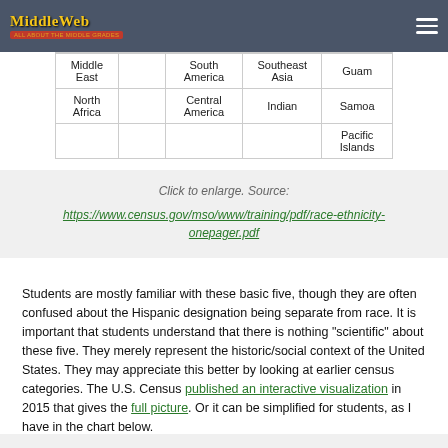MiddleWeb
| Middle East |  | South America | Southeast Asia | Guam |
| North Africa |  | Central America | Indian | Samoa |
|  |  |  |  | Pacific Islands |
Click to enlarge. Source: https://www.census.gov/mso/www/training/pdf/race-ethnicity-onepager.pdf
Students are mostly familiar with these basic five, though they are often confused about the Hispanic designation being separate from race. It is important that students understand that there is nothing “scientific” about these five. They merely represent the historic/social context of the United States. They may appreciate this better by looking at earlier census categories. The U.S. Census published an interactive visualization in 2015 that gives the full picture. Or it can be simplified for students, as I have in the chart below.